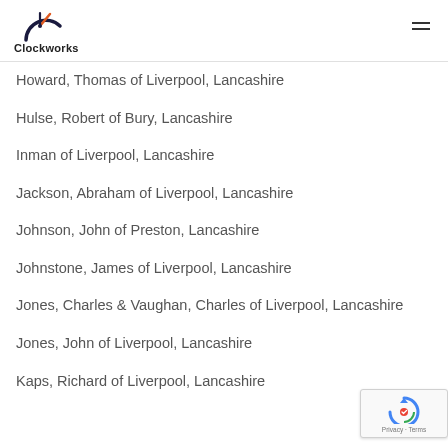Clockworks
Howard, Thomas of Liverpool, Lancashire
Hulse, Robert of Bury, Lancashire
Inman of Liverpool, Lancashire
Jackson, Abraham of Liverpool, Lancashire
Johnson, John of Preston, Lancashire
Johnstone, James of Liverpool, Lancashire
Jones, Charles & Vaughan, Charles of Liverpool, Lancashire
Jones, John of Liverpool, Lancashire
Kaps, Richard of Liverpool, Lancashire